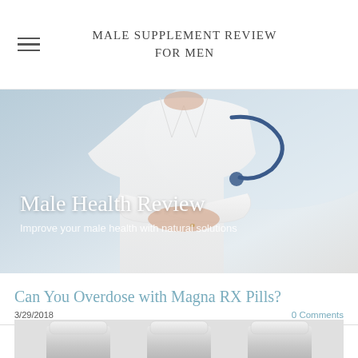MALE SUPPLEMENT REVIEW FOR MEN
[Figure (photo): Hero banner showing a doctor/medical professional wearing a white lab coat and stethoscope with arms crossed. Overlay text reads 'Male Health Review' and 'Improve your male health with natural solutions'.]
Male Health Review
Improve your male health with natural solutions
Can You Overdose with Magna RX Pills?
3/29/2018
0 Comments
[Figure (photo): Three supplement pill bottles with white caps shown from below, partially cropped at the bottom of the page.]